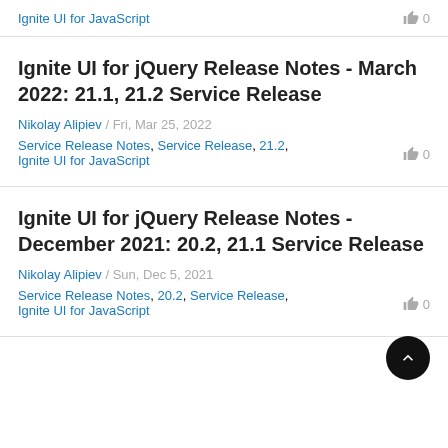Ignite UI for JavaScript   👍 0
Ignite UI for jQuery Release Notes - March 2022: 21.1, 21.2 Service Release
Nikolay Alipiev / Fri, Mar 25, 2022
Service Release Notes, Service Release, 21.2, Ignite UI for JavaScript   👍 0
Ignite UI for jQuery Release Notes - December 2021: 20.2, 21.1 Service Release
Nikolay Alipiev / Sun, Dec 5, 2021
Service Release Notes, 20.2, Service Release, Ignite UI for JavaScript   👍 0